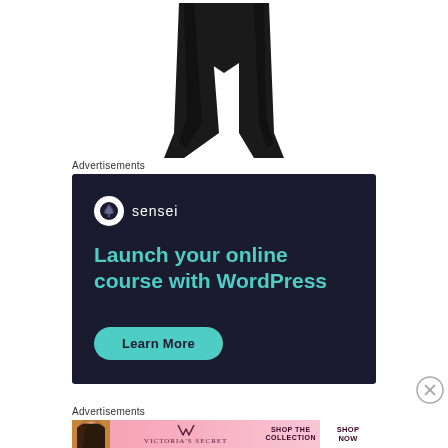[Figure (photo): Bottom portion of black pants/trousers on white background, showing the lower legs and hem]
Advertisements
[Figure (screenshot): Sensei advertisement with dark navy background. Shows Sensei logo (white circle with tree icon and 'sensei' text), tagline 'Launch your online course with WordPress' in teal, and a teal 'Learn More' button.]
[Figure (other): Close/dismiss button (X in circle) for the advertisement]
Advertisements
[Figure (screenshot): Victoria's Secret advertisement banner with pink gradient background, model photo on left, Victoria's Secret logo in center, 'SHOP THE COLLECTION' text, and 'SHOP NOW' button on white background on the right.]